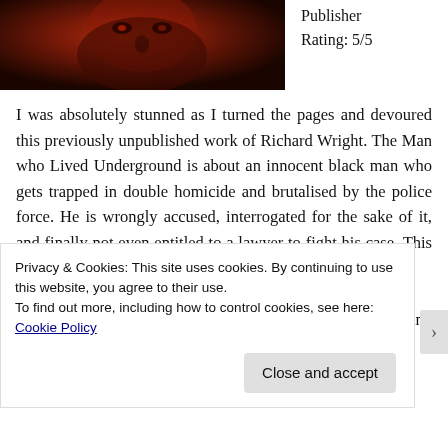[Figure (photo): Dark red-tinted close-up photo of a person's face, used as book cover art for 'The Man who Lived Underground' by Richard Wright.]
Publisher
Rating: 5/5
I was absolutely stunned as I turned the pages and devoured this previously unpublished work of Richard Wright. The Man who Lived Underground is about an innocent black man who gets trapped in double homicide and brutalised by the police force. He is wrongly accused, interrogated for the sake of it, and finally not even entitled to a lawyer to fight his case. This book is set in 1942. Sadly, nothing has changed.
Fred Daniels manages to escape from police custody and enters the sewers, and this is really where the story takes
Privacy & Cookies: This site uses cookies. By continuing to use this website, you agree to their use.
To find out more, including how to control cookies, see here: Cookie Policy
Close and accept